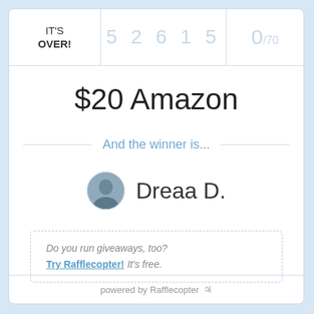IT'S OVER!
5 2 6 1 5
0/70
$20 Amazon
And the winner is...
Dreaa D.
Do you run giveaways, too? Try Rafflecopter! It's free.
powered by Rafflecopter